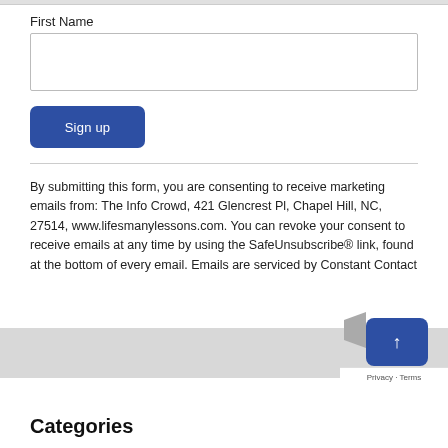First Name
Sign up
By submitting this form, you are consenting to receive marketing emails from: The Info Crowd, 421 Glencrest Pl, Chapel Hill, NC, 27514, www.lifesmanylessons.com. You can revoke your consent to receive emails at any time by using the SafeUnsubscribe® link, found at the bottom of every email. Emails are serviced by Constant Contact
Categories